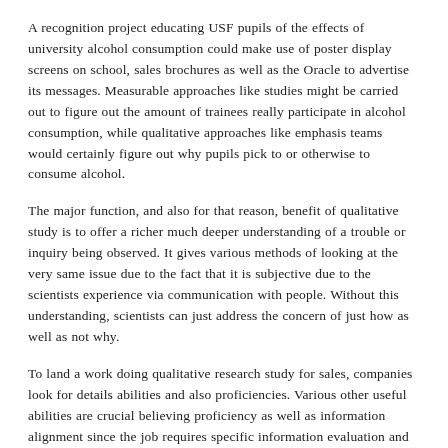A recognition project educating USF pupils of the effects of university alcohol consumption could make use of poster display screens on school, sales brochures as well as the Oracle to advertise its messages. Measurable approaches like studies might be carried out to figure out the amount of trainees really participate in alcohol consumption, while qualitative approaches like emphasis teams would certainly figure out why pupils pick to or otherwise to consume alcohol.
The major function, and also for that reason, benefit of qualitative study is to offer a richer much deeper understanding of a trouble or inquiry being observed. It gives various methods of looking at the very same issue due to the fact that it is subjective due to the scientists experience via communication with people. Without this understanding, scientists can just address the concern of just how as well as not why.
To land a work doing qualitative research study for sales, companies look for details abilities and also proficiencies. Various other useful abilities are crucial believing proficiency as well as information alignment since the job requires specific information evaluation and also evaluation of info collected to identify the activity strategies.